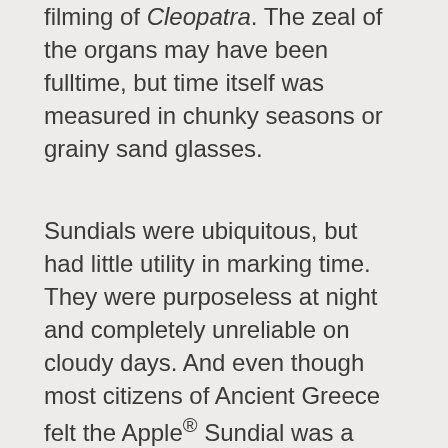Taylor could do to sync their calendars during the filming of Cleopatra. The zeal of the organs may have been fulltime, but time itself was measured in chunky seasons or grainy sand glasses.
Sundials were ubiquitous, but had little utility in marking time. They were purposeless at night and completely unreliable on cloudy days. And even though most citizens of Ancient Greece felt the Apple® Sundial was a slick looking product, nobody could orient the thing. In other words, being on time wasn't much of a virtue in antiquity. And it wouldn't become a virtue until the advent of time pieces around the year !%!% (which, I just discovered, is actually the year 1515 if you accidentally hold down the shift key while typing